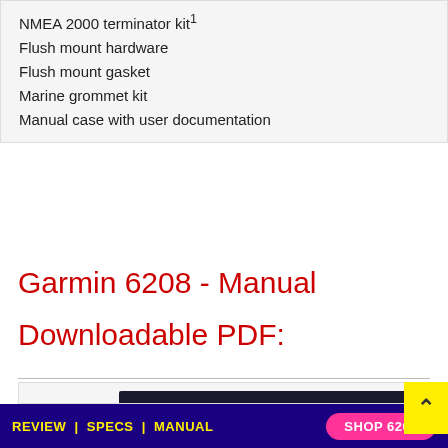NMEA 2000 terminator kit¹
Flush mount hardware
Flush mount gasket
Marine grommet kit
Manual case with user documentation
Garmin 6208 - Manual
Downloadable PDF:
[Figure (photo): Cover of the GPSMAP 6000/7000 series owner's manual by Garmin, shown as a dark booklet with the Garmin logo and model text.]
REVIEW | SPECS | MANUAL    SHOP 6208